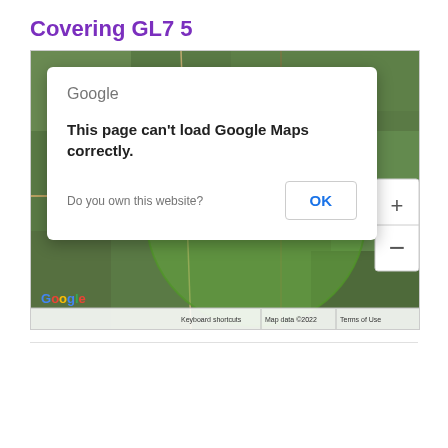Covering GL7 5
[Figure (map): Google Maps screenshot showing area around GL7 5 postcode covering Kemble, South Cerney, Tetbury, Cricklade area. A Google Maps error dialog is displayed: 'This page can't load Google Maps correctly.' with an OK button and 'Do you own this website?' prompt. A green circle highlights the covered area on the map.]